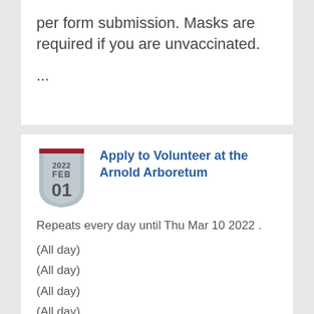per form submission. Masks are required if you are unvaccinated.
...
Apply to Volunteer at the Arnold Arboretum
Repeats every day until Thu Mar 10 2022 .
(All day)
(All day)
(All day)
(All day)